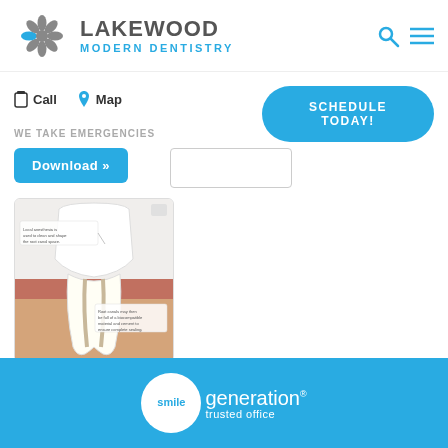[Figure (logo): Lakewood Modern Dentistry logo with starburst icon and text]
Call
Map
SCHEDULE TODAY!
WE TAKE EMERGENCIES
Download »
[Figure (illustration): Cross-section illustration of a tooth showing root canal anatomy with callout labels]
[Figure (logo): Smile Generation trusted office badge with white circle and blue background]